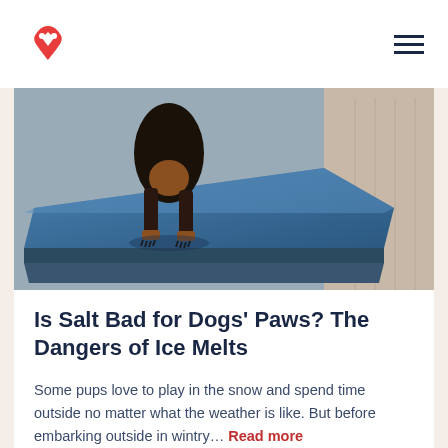Fetch by The Dodo logo and navigation menu
[Figure (photo): A black and tan dog standing on a blue veterinary scale. The word 'Major' is partially visible at the bottom left of the image.]
Is Salt Bad for Dogs' Paws? The Dangers of Ice Melts
Some pups love to play in the snow and spend time outside no matter what the weather is like. But before embarking outside in wintry… Read more